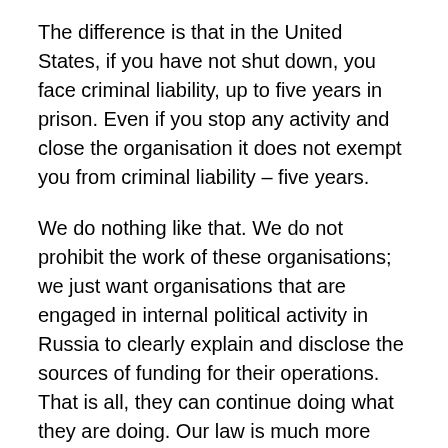The difference is that in the United States, if you have not shut down, you face criminal liability, up to five years in prison. Even if you stop any activity and close the organisation it does not exempt you from criminal liability – five years.
We do nothing like that. We do not prohibit the work of these organisations; we just want organisations that are engaged in internal political activity in Russia to clearly explain and disclose the sources of funding for their operations. That is all, they can continue doing what they are doing. Our law is much more liberal. If you think this is not enough, if, like your colleague here, you think we need to introduce liability, administrative or criminal, for failure to get vaccinated – why don't we introduce criminal liability for foreign agents' operations if the organisation fails to close, like in the US? But we do not even demand